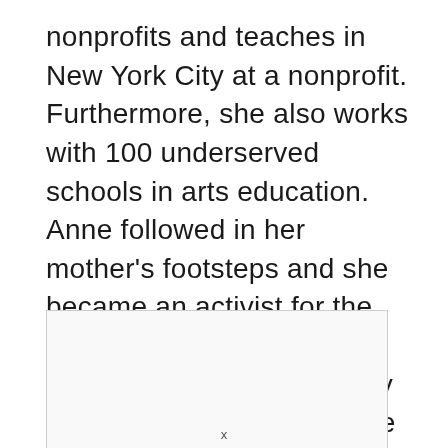nonprofits and teaches in New York City at a nonprofit. Furthermore, she also works with 100 underserved schools in arts education. Anne followed in her mother's footsteps and she became an activist for the rights of women and volunteers with Middle Way House and helped organize the campaign.
[Figure (other): A blank white rectangular image placeholder with a light border]